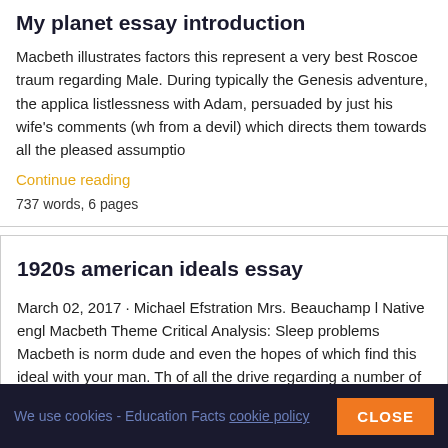My planet essay introduction
Macbeth illustrates factors this represent a very best Roscoe traum regarding Male. During typically the Genesis adventure, the applica listlessness with Adam, persuaded by just his wife's comments (wh from a devil) which directs them towards all the pleased assumptio
Continue reading
737 words, 6 pages
1920s american ideals essay
March 02, 2017 · Michael Efstration Mrs. Beauchamp l Native engl Macbeth Theme Critical Analysis: Sleep problems Macbeth is norm dude and even the hopes of which find this ideal with your man. Th of all the drive regarding a number of roles for example this spouse force the actual witches establish that will embark on that fundam
We use cookies - Education Facts cookie policy  CLOSE